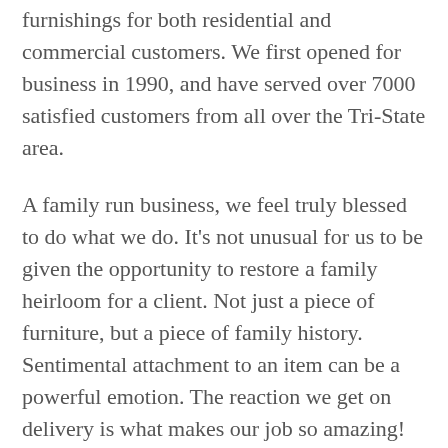furnishings for both residential and commercial customers. We first opened for business in 1990, and have served over 7000 satisfied customers from all over the Tri-State area.
A family run business, we feel truly blessed to do what we do. It's not unusual for us to be given the opportunity to restore a family heirloom for a client. Not just a piece of furniture, but a piece of family history. Sentimental attachment to an item can be a powerful emotion. The reaction we get on delivery is what makes our job so amazing!
We have been hugged, kissed, and yes... we have even seen grown men cry.